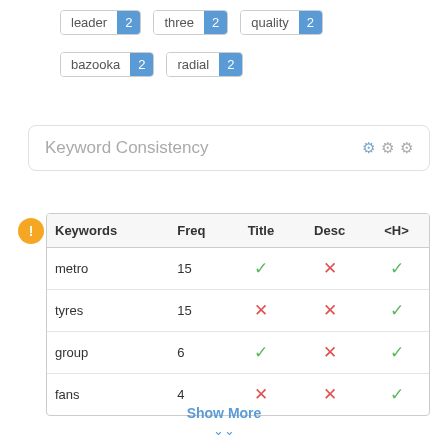leader 2  three 2  quality 2
bazooka 2  radial 2
Keyword Consistency
| Keywords | Freq | Title | Desc | <H> |
| --- | --- | --- | --- | --- |
| metro | 15 | ✓ | ✗ | ✓ |
| tyres | 15 | ✗ | ✗ | ✓ |
| group | 6 | ✓ | ✗ | ✓ |
| fans | 4 | ✗ | ✗ | ✓ |
Show More